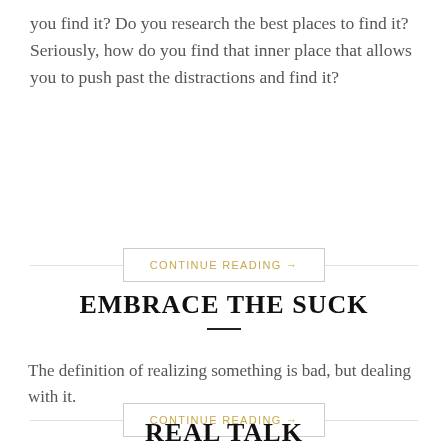you find it? Do you research the best places to find it? Seriously, how do you find that inner place that allows you to push past the distractions and find it?
CONTINUE READING →
EMBRACE THE SUCK
The definition of realizing something is bad, but dealing with it.
CONTINUE READING →
REAL TALK